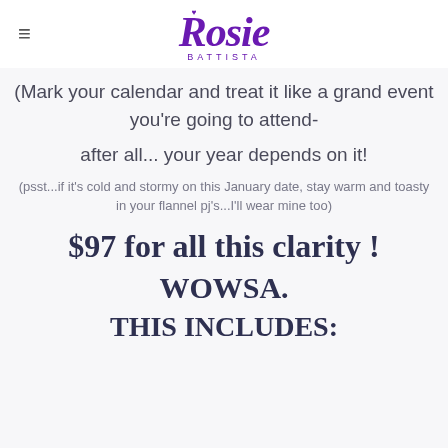Rosie Battista
(Mark your calendar and treat it like a grand event you're going to attend-

after all... your year depends on it!
(psst...if it's cold and stormy on this January date, stay warm and toasty in your flannel pj's...I'll wear mine too)
$97 for all this clarity !
WOWSA.
THIS INCLUDES: